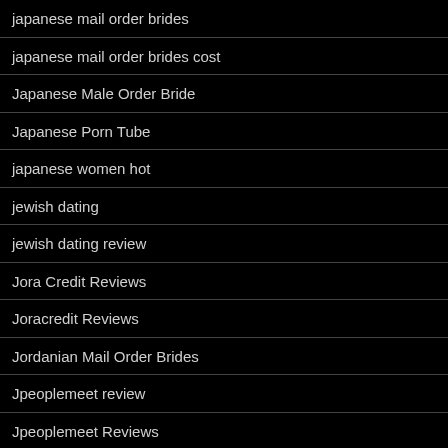japanese mail order brides
japanese mail order brides cost
Japanese Male Order Bride
Japanese Porn Tube
japanese women hot
jewish dating
jewish dating review
Jora Credit Reviews
Joracredit Reviews
Jordanian Mail Order Brides
Jpeoplemeet review
Jpeoplemeet Reviews
Just Cbd Gummies Ingredients